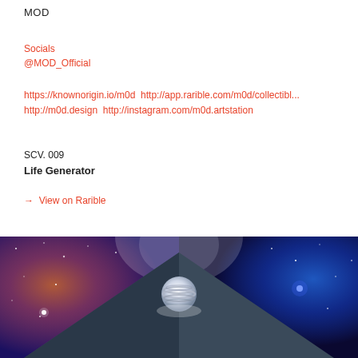MOD
Socials
@MOD_Official
https://knownorigin.io/m0d http://app.rarible.com/m0d/collectibl...
http://m0d.design http://instagram.com/m0d.artstation
SCV. 009
Life Generator
→ View on Rarible
[Figure (illustration): Digital artwork showing a dark triangular pyramid shape against a cosmic nebula background with stars and colorful gas clouds in blues, purples, and reds. A glowing orb or planet with rings sits at the top center of the pyramid.]